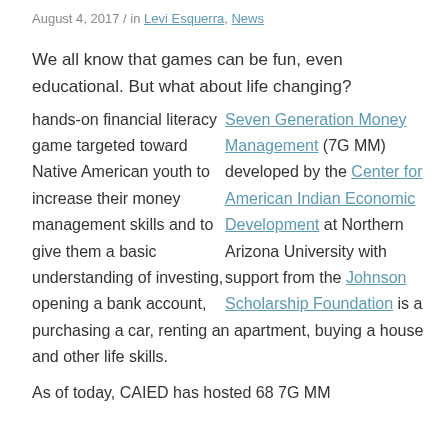August 4, 2017 / in Levi Esquerra, News
We all know that games can be fun, even educational. But what about life changing?
Seven Generation Money Management (7G MM) developed by the Center for American Indian Economic Development at Northern Arizona University with support from the Johnson Scholarship Foundation is a hands-on financial literacy game targeted toward Native American youth to increase their money management skills and to give them a basic understanding of investing, opening a bank account, purchasing a car, renting an apartment, buying a house and other life skills.
As of today, CAIED has hosted 68 7G MM